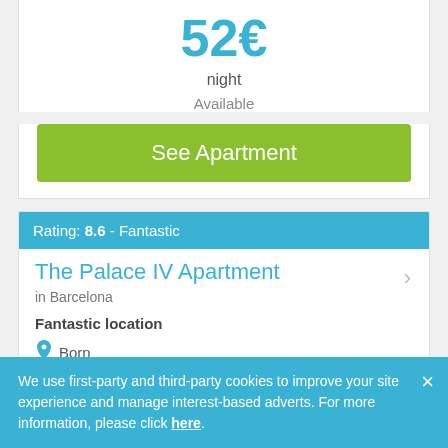52€
night
Available
See Apartment
Rating: 8.6 - Fantastic
The Palace IV Apartment
in Barcelona
Fantastic location
Born
We use first-party and third-party cookies to improve your site experience and manage interest-based adverts. For more information, please click here.